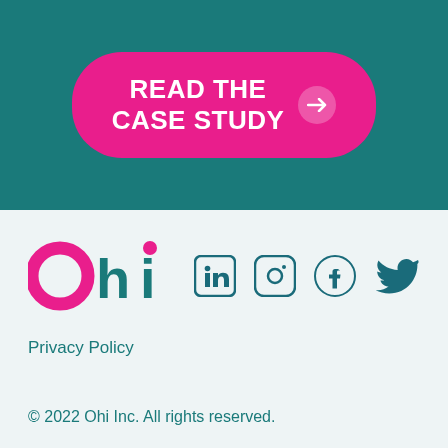[Figure (other): Pink pill-shaped button with white bold text 'READ THE CASE STUDY' and arrow icon on teal background]
[Figure (logo): Ohi company logo — letter O in pink, 'hi' in teal with pink dot over i]
[Figure (other): Social media icons: LinkedIn, Instagram, Facebook, Twitter in teal]
Privacy Policy
© 2022 Ohi Inc. All rights reserved.